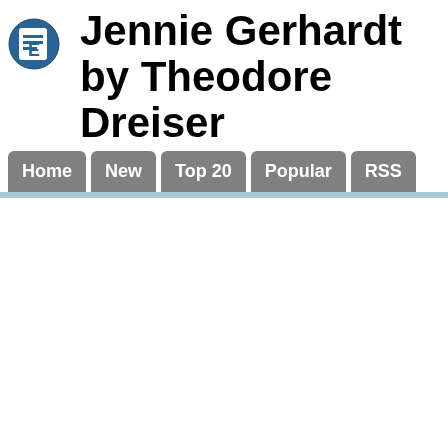Jennie Gerhardt by Theodore Dreiser
[Figure (logo): Blue circular logo with a white letter E and horizontal lines, resembling an ebook reader icon]
Home
New
Top 20
Popular
RSS